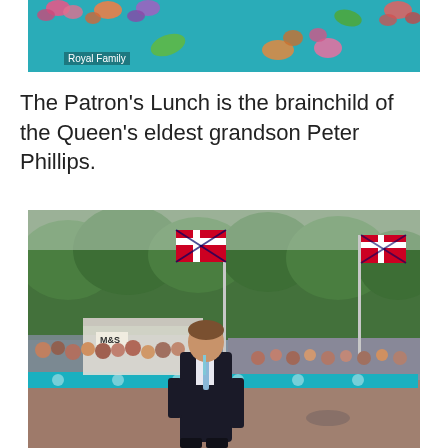[Figure (photo): Top portion of a colorful decorative image with teal background and colorful floral/leaf cutout shapes. A 'Royal Family' caption label appears in the lower left corner of the image.]
The Patron's Lunch is the brainchild of the Queen's eldest grandson Peter Phillips.
[Figure (photo): Peter Phillips standing on The Mall in London, smiling, wearing a dark suit and light blue tie with an event lanyard. Behind him is a large crowd of spectators behind teal-colored barriers, and Union Jack flags are flying on tall poles. Trees line the street. An M&S sign is visible in the background.]